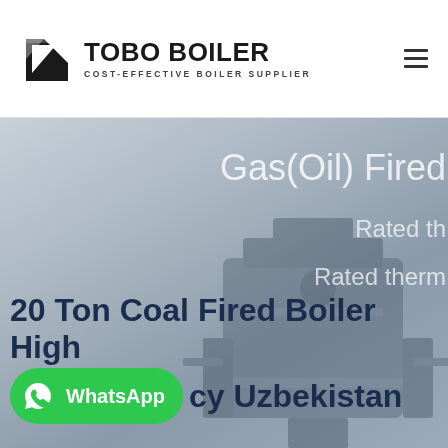[Figure (logo): TOBO BOILER logo with trapezoid icon and text 'COST-EFFECTIVE BOILER SUPPLIER']
[Figure (photo): Hero banner showing a coal fired boiler in grey tones with text overlay. Shows partial text 'Gas(Oil) Fired', 'Rated th', 'Rated therm' on the right side. Boiler industrial equipment visible in background.]
20 Ton Coal Fired Boiler High cy Uzbekistan
[Figure (other): WhatsApp contact button (green rounded rectangle with WhatsApp icon and text 'WhatsApp')]